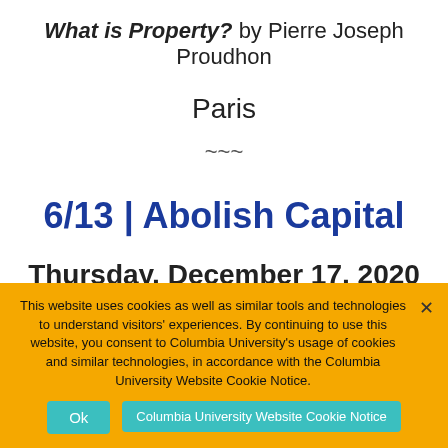What is Property? by Pierre Joseph Proudhon
Paris
~~~
6/13 | Abolish Capital
Thursday, December 17, 2020
A Joint Session with the Institute for Social
This website uses cookies as well as similar tools and technologies to understand visitors' experiences. By continuing to use this website, you consent to Columbia University's usage of cookies and similar technologies, in accordance with the Columbia University Website Cookie Notice.
Ok
Columbia University Website Cookie Notice